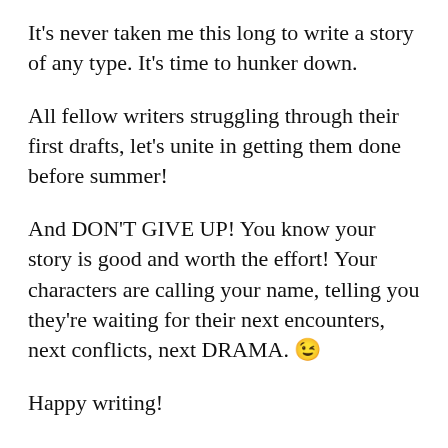It's never taken me this long to write a story of any type. It's time to hunker down.
All fellow writers struggling through their first drafts, let's unite in getting them done before summer!
And DON'T GIVE UP! You know your story is good and worth the effort! Your characters are calling your name, telling you they're waiting for their next encounters, next conflicts, next DRAMA. 😉
Happy writing!